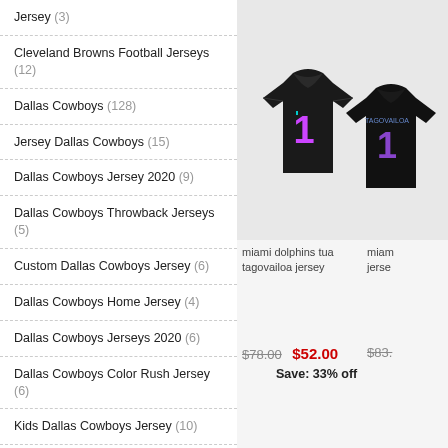Jersey (3)
Cleveland Browns Football Jerseys (12)
Dallas Cowboys (128)
Jersey Dallas Cowboys (15)
Dallas Cowboys Jersey 2020 (9)
Dallas Cowboys Throwback Jerseys (5)
Custom Dallas Cowboys Jersey (6)
Dallas Cowboys Home Jersey (4)
Dallas Cowboys Jerseys 2020 (6)
Dallas Cowboys Color Rush Jersey (6)
Kids Dallas Cowboys Jersey (10)
Deion Sanders Dallas Cowboys Jersey (4)
Dallas Cowboys Womens Jersey (21)
Black Dallas Cowboys Jersey (10)
[Figure (photo): Two black Miami Dolphins Tua Tagovailoa jerseys shown front and back]
miami dolphins tua tagovailoa jersey
miam jerse
$78.00  $52.00  Save: 33% off
$83.